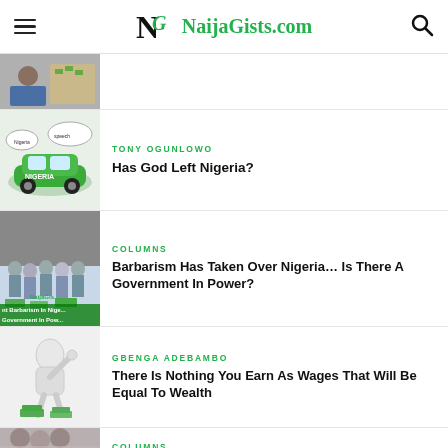NaijaGists.com
[Figure (photo): Partial article thumbnail - man with money]
(partial article title cut off)
[Figure (photo): Cartoon illustration of Nigerians in a green car with speech bubbles]
TONY OGUNLOWO
Has God Left Nigeria?
[Figure (photo): People gathered, crowd scene, NaijaGists watermark. Text overlay: 'Barbarism In Nigeria, Government In Power']
COLUMNS
Barbarism Has Taken Over Nigeria... Is There A Government In Power?
[Figure (photo): 3D white figure holding money stacks]
GBENGA ADEBAMBO
There Is Nothing You Earn As Wages That Will Be Equal To Wealth
[Figure (photo): Crowd of people, partial view]
COLUMNS